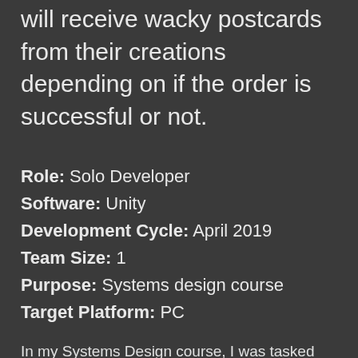will receive wacky postcards from their creations depending on if the order is successful or not.
Role: Solo Developer
Software: Unity
Development Cycle: April 2019
Team Size: 1
Purpose: Systems design course
Target Platform: PC
In my Systems Design course, I was tasked with rapidly prototyping 3 different game systems focused on